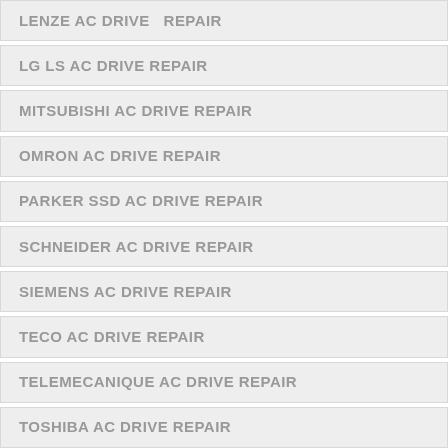LENZE AC DRIVE  REPAIR
LG LS AC DRIVE REPAIR
MITSUBISHI AC DRIVE REPAIR
OMRON AC DRIVE REPAIR
PARKER SSD AC DRIVE REPAIR
SCHNEIDER AC DRIVE REPAIR
SIEMENS AC DRIVE REPAIR
TECO AC DRIVE REPAIR
TELEMECANIQUE AC DRIVE REPAIR
TOSHIBA AC DRIVE REPAIR